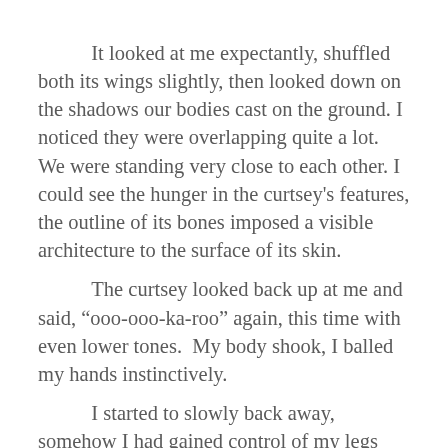It looked at me expectantly, shuffled both its wings slightly, then looked down on the shadows our bodies cast on the ground. I noticed they were overlapping quite a lot. We were standing very close to each other. I could see the hunger in the curtsey's features, the outline of its bones imposed a visible architecture to the surface of its skin.

The curtsey looked back up at me and said, “ooo-ooo-ka-roo” again, this time with even lower tones.  My body shook, I balled my hands instinctively.

I started to slowly back away, somehow I had gained control of my legs